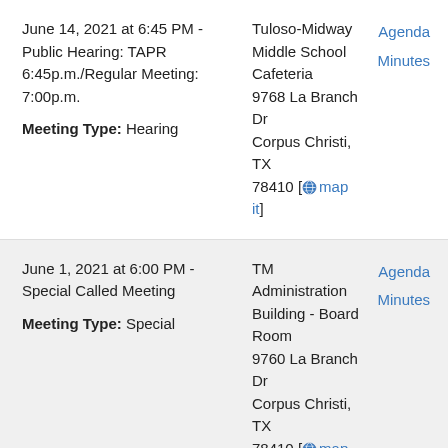June 14, 2021 at 6:45 PM - Public Hearing: TAPR 6:45p.m./Regular Meeting: 7:00p.m.
Meeting Type: Hearing
Tuloso-Midway Middle School Cafeteria
9768 La Branch Dr
Corpus Christi, TX
78410 [map it]
Agenda
Minutes
June 1, 2021 at 6:00 PM - Special Called Meeting
Meeting Type: Special
TM Administration Building - Board Room
9760 La Branch Dr
Corpus Christi, TX
78410 [map it]
Agenda
Minutes